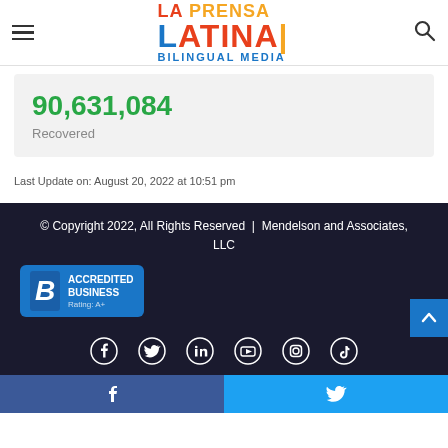La Prensa Latina Bilingual Media
90,631,084
Recovered
Last Update on: August 20, 2022 at 10:51 pm
© Copyright 2022, All Rights Reserved | Mendelson and Associates, LLC
[Figure (logo): BBB Accredited Business badge with rating A+]
[Figure (infographic): Social media icons: Facebook, Twitter, LinkedIn, YouTube, Instagram, TikTok]
[Figure (infographic): Share bar with Facebook and Twitter buttons]